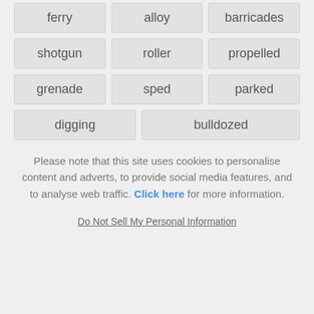ferry
alloy
barricades
shotgun
roller
propelled
grenade
sped
parked
digging
bulldozed
Please note that this site uses cookies to personalise content and adverts, to provide social media features, and to analyse web traffic. Click here for more information.
Do Not Sell My Personal Information